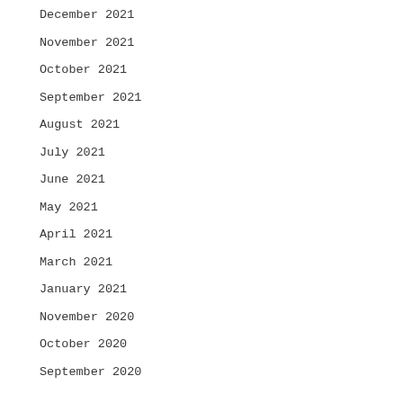December 2021
November 2021
October 2021
September 2021
August 2021
July 2021
June 2021
May 2021
April 2021
March 2021
January 2021
November 2020
October 2020
September 2020